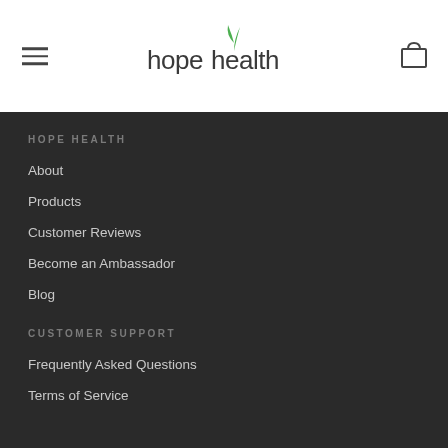hopehealth navigation header with hamburger menu and cart icon
HOPE HEALTH
About
Products
Customer Reviews
Become an Ambassador
Blog
CUSTOMER SUPPORT
Frequently Asked Questions
Terms of Service